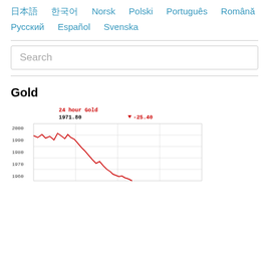日本語
한국어
Norsk
Polski
Português
Română
Русский
Español
Svenska
Search
Gold
[Figure (line-chart): 24 hour Gold price chart showing 1971.80, change -25.40, y-axis from 1960 to 2000]